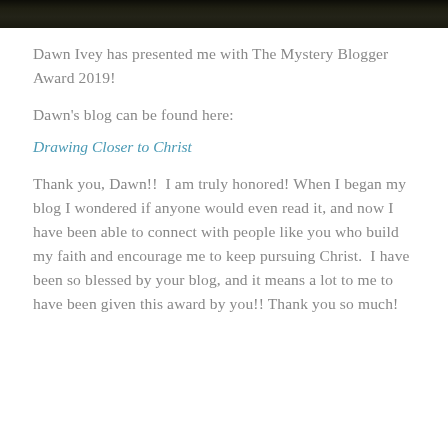[Figure (photo): Dark, moody nature/forest photograph forming the top banner of the blog post page]
Dawn Ivey has presented me with The Mystery Blogger Award 2019!
Dawn's blog can be found here:
Drawing Closer to Christ
Thank you, Dawn!!  I am truly honored! When I began my blog I wondered if anyone would even read it, and now I have been able to connect with people like you who build my faith and encourage me to keep pursuing Christ.  I have been so blessed by your blog, and it means a lot to me to have been given this award by you!! Thank you so much!